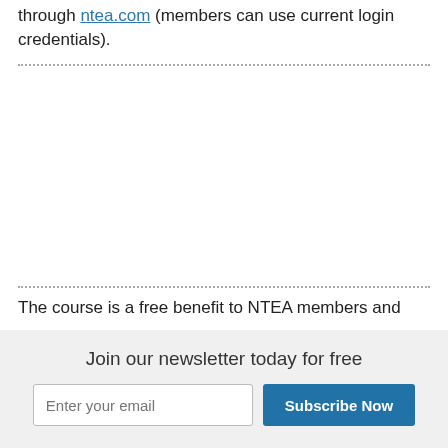through ntea.com (members can use current login credentials).
The course is a free benefit to NTEA members and
Join our newsletter today for free
Enter your email | Subscribe Now